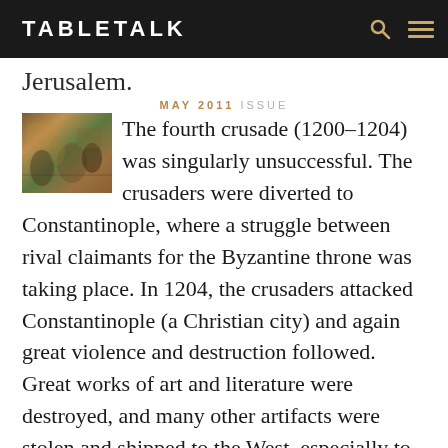TABLETALK
Jerusalem.
MAY 2011 ISSUE
[Figure (illustration): Small thumbnail image of a historical painting, appearing to depict a battle or crusade scene with figures and horses.]
The fourth crusade (1200–1204) was singularly unsuccessful. The crusaders were diverted to Constantinople, where a struggle between rival claimants for the Byzantine throne was taking place. In 1204, the crusaders attacked Constantinople (a Christian city) and again great violence and destruction followed. Great works of art and literature were destroyed, and many other artifacts were stolen and shipped to the West, especially to Venice, where they can still be found today. The West established the Latin Empire of